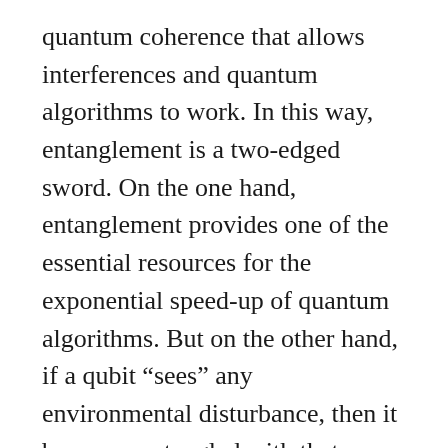quantum coherence that allows interferences and quantum algorithms to work. In this way, entanglement is a two-edged sword. On the one hand, entanglement provides one of the essential resources for the exponential speed-up of quantum algorithms. But on the other hand, if a qubit “sees” any environmental disturbance, then it becomes entangled with that environment. The entangling of quantum information with the environment causes the coherence to drain away — hence decoherence. Hot environments disturb quantum systems much more than cold environments, so there is a premium for cooling the environment of quantum computers to as low a temperature as they can. Even so, decoherence times can be microseconds to milliseconds under even the best conditions — quantum information dissipates almost as fast as